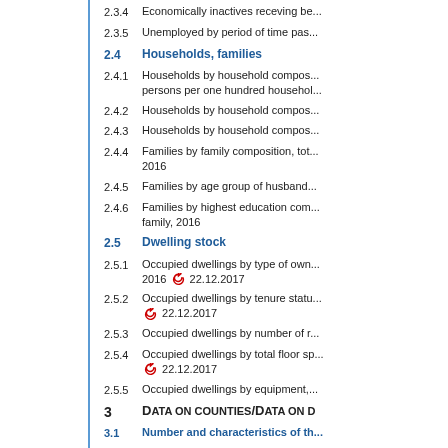2.3.4 Economically inactives receving be...
2.3.5 Unemployed by period of time pas...
2.4 Households, families
2.4.1 Households by household compos... persons per one hundred househol...
2.4.2 Households by household compos...
2.4.3 Households by household compos...
2.4.4 Families by family composition, tot... 2016
2.4.5 Families by age group of husband...
2.4.6 Families by highest education com... family, 2016
2.5 Dwelling stock
2.5.1 Occupied dwellings by type of own... 2016 [refresh] 22.12.2017
2.5.2 Occupied dwellings by tenure statu... [refresh] 22.12.2017
2.5.3 Occupied dwellings by number of r...
2.5.4 Occupied dwellings by total floor sp... [refresh] 22.12.2017
2.5.5 Occupied dwellings by equipment,...
3 Data on counties/Data on D...
3.1 Number and characteristics of th...